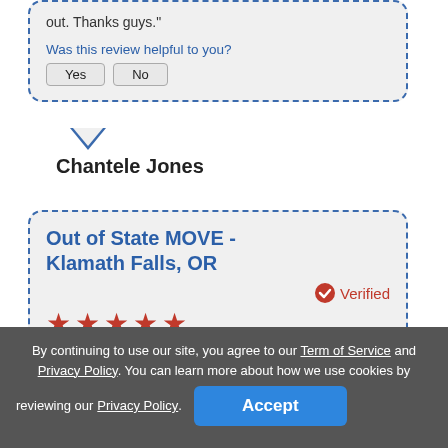out. Thanks guys."
Was this review helpful to you?
Yes  No
Chantele Jones
Out of State MOVE - Klamath Falls, OR
Verified
Rating: 5/5 (based on 5 reviews)
"Only after searching Google for an hour and getting a few quotes did I find this company. I'm glad I did. They were best priced moving company and delivered the best bang for the move. Major Kudus to you
By continuing to use our site, you agree to our Term of Service and Privacy Policy. You can learn more about how we use cookies by reviewing our Privacy Policy.
Accept